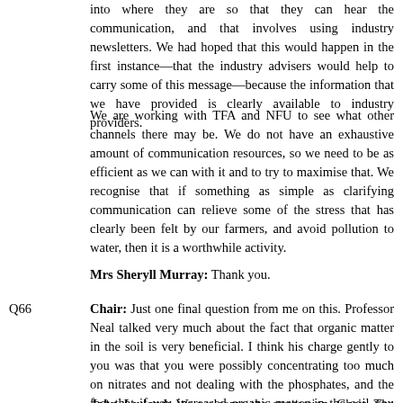into where they are so that they can hear the communication, and that involves using industry newsletters. We had hoped that this would happen in the first instance—that the industry advisers would help to carry some of this message—because the information that we have provided is clearly available to industry providers.
We are working with TFA and NFU to see what other channels there may be. We do not have an exhaustive amount of communication resources, so we need to be as efficient as we can with it and to try to maximise that. We recognise that if something as simple as clarifying communication can relieve some of the stress that has clearly been felt by our farmers, and avoid pollution to water, then it is a worthwhile activity.
Mrs Sheryll Murray: Thank you.
Q66 Chair: Just one final question from me on this. Professor Neal talked very much about the fact that organic matter in the soil is very beneficial. I think his charge gently to you was that you were possibly concentrating too much on nitrates and not dealing with the phosphates, and the fact that if you increased organic matter in the soil you will also increase the absorption of water. How do you answer that particular slight criticism?
John Leyland: We welcome the suggestion, Chair. The EA is for holistic regulation, the EA is for any kind of position that takes into account the balance of carbon, nitrogen, phosphorus